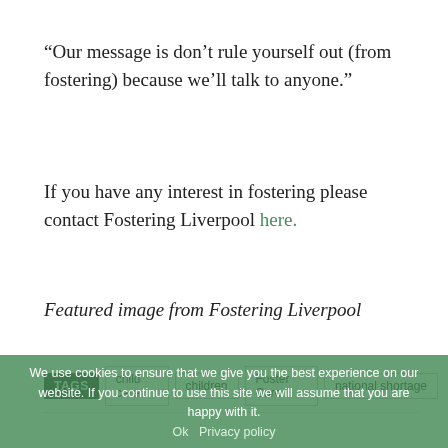“Our message is don’t rule yourself out (from fostering) because we’ll talk to anyone.”
If you have any interest in fostering please contact Fostering Liverpool here.
Featured image from Fostering Liverpool
TAGS  child care  children  Foster Care  national shortage
We use cookies to ensure that we give you the best experience on our website. If you continue to use this site we will assume that you are happy with it. Ok  Privacy policy